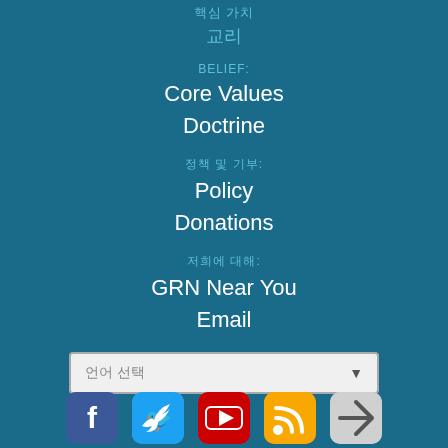핵심 가치
교리
BELIEF:
Core Values
Doctrine
정책 및 기부:
Policy
Donations
저희에 대해:
GRN Near You
Email
[Figure (other): Dropdown selector with placeholder text in Korean]
[Figure (other): Social media icons row: Facebook, Twitter, YouTube, RSS, and one more]